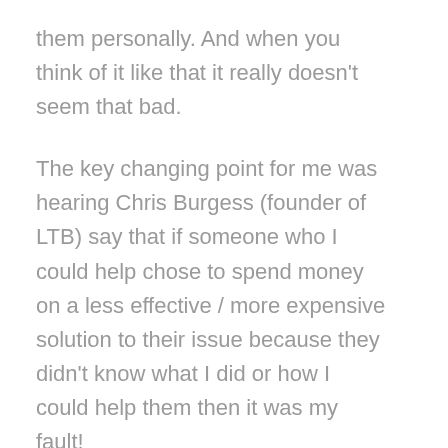them personally.  And when you think of it like that it really doesn't seem that bad.
The key changing point for me was hearing Chris Burgess (founder of LTB) say that if someone who I could help chose to spend money on a less effective / more expensive solution to their issue because they didn't know what I did or how I could help them then it was my fault!
Now when you throw that into the mix your marketing is no longer about getting people to buy from you.
It's a public service!